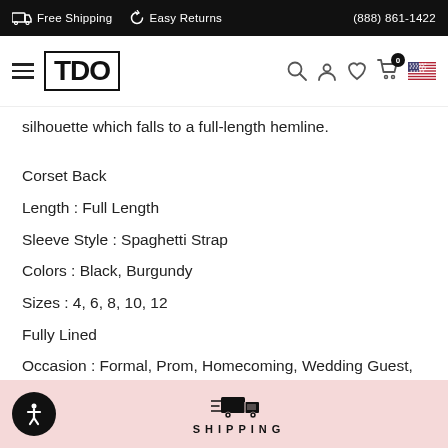Free Shipping   Easy Returns   (888) 861-1422
[Figure (logo): TDO logo in bordered box with hamburger menu, search, account, wishlist, cart (0), and US flag icons]
silhouette which falls to a full-length hemline.
Corset Back
Length : Full Length
Sleeve Style : Spaghetti Strap
Colors : Black, Burgundy
Sizes : 4, 6, 8, 10, 12
Fully Lined
Occasion : Formal, Prom, Homecoming, Wedding Guest, Red Carpet, Pageant, Evening Party
[Figure (illustration): Shipping truck icon with motion lines above SHIPPING text in spaced letters, on pink background with accessibility icon in bottom left]